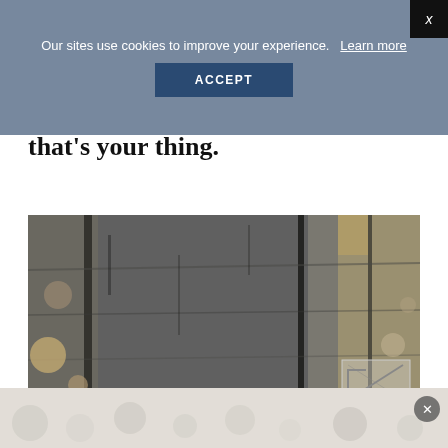Our sites use cookies to improve your experience.  Learn more
ACCEPT
that's your thing.
[Figure (photo): Close-up photograph of layered rock/mineral surface with grey and brown tones, showing geological strata and texture]
[Figure (photo): Bottom banner showing whitish/light grey gravel or rock material]